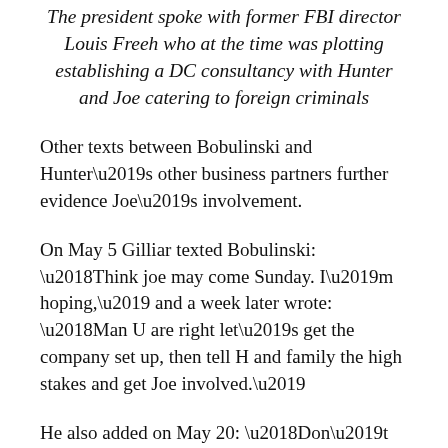The president spoke with former FBI director Louis Freeh who at the time was plotting establishing a DC consultancy with Hunter and Joe catering to foreign criminals
Other texts between Bobulinski and Hunter's other business partners further evidence Joe's involvement.
On May 5 Gilliar texted Bobulinski: ‘Think joe may come Sunday. I’m hoping,’ and a week later wrote: ‘Man U are right let’s get the company set up, then tell H and family the high stakes and get Joe involved.’
He also added on May 20: ‘Don’t mention Joe